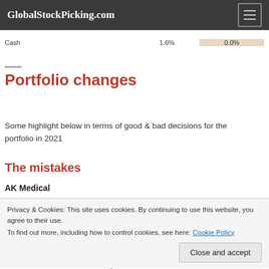GlobalStockPicking.com
|  |  |  |
| --- | --- | --- |
| Cash | 1.6% | 0.0% |
Portfolio changes
Some highlight below in terms of good & bad decisions for the portfolio in 2021
The mistakes
AK Medical
Privacy & Cookies: This site uses cookies. By continuing to use this website, you agree to their use.
To find out more, including how to control cookies, see here: Cookie Policy
Close and accept
move due to fears of the changes in Chinas central